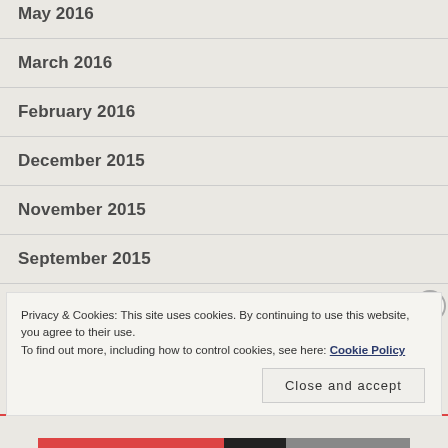May 2016
March 2016
February 2016
December 2015
November 2015
September 2015
Privacy & Cookies: This site uses cookies. By continuing to use this website, you agree to their use.
To find out more, including how to control cookies, see here: Cookie Policy
Close and accept